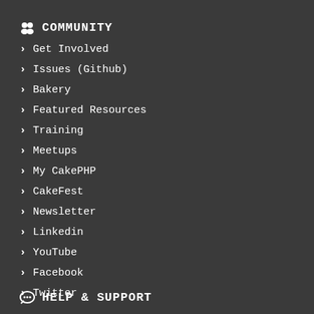COMMUNITY
Get Involved
Issues (Github)
Bakery
Featured Resources
Training
Meetups
My CakePHP
CakeFest
Newsletter
Linkedin
YouTube
Facebook
Twitter
HELP & SUPPORT